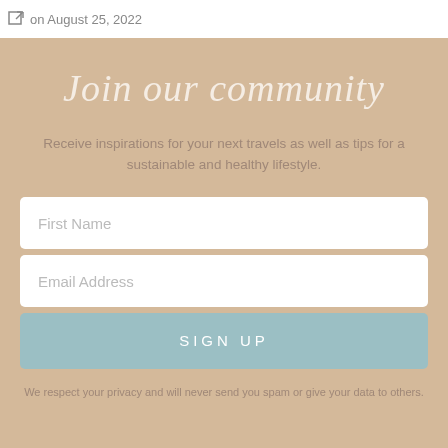on August 25, 2022
Join our community
Receive inspirations for your next travels as well as tips for a sustainable and healthy lifestyle.
First Name
Email Address
SIGN UP
We respect your privacy and will never send you spam or give your data to others.